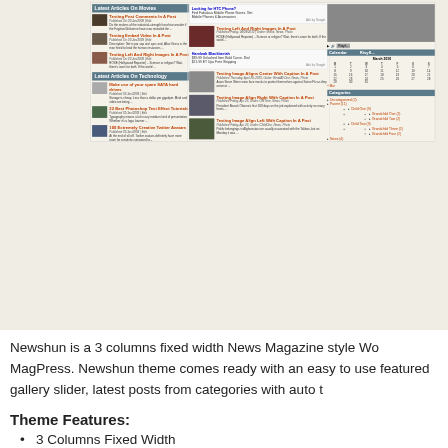[Figure (screenshot): Screenshot of Newshun WordPress theme showing a 3-column news magazine layout with article listings, calendar widget, and categories sidebar]
Newshun is a 3 columns fixed width News Magazine style WordPress theme by MagPress. Newshun theme comes ready with an easy to use featured gallery slider, latest posts from categories with auto t
Theme Features:
3 Columns Fixed Width